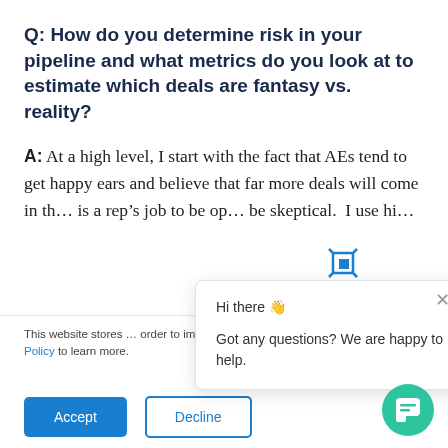Q: How do you determine risk in your pipeline and what metrics do you look at to estimate which deals are fantasy vs. reality?
A: At a high level, I start with the fact that AEs tend to get happy ears and believe that far more deals will come in tha... is a rep's job to be op... be skeptical. I use hi...
This website stores ... order to improve yo... provide more perso... Privacy Policy to learn more.
Hi there 👋

Got any questions? We are happy to help.